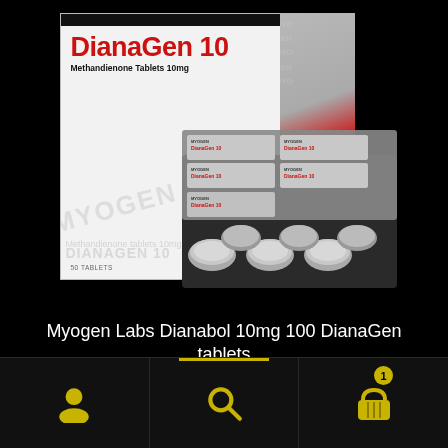[Figure (photo): Product photo of DianaGen 10 Methandienone Tablets 10mg by Myogen Labs — showing a white/grey pharmaceutical box with red branding and a silver blister pack with round tablets visible]
Myogen Labs Dianabol 10mg 100 DianaGen tablets
US$25